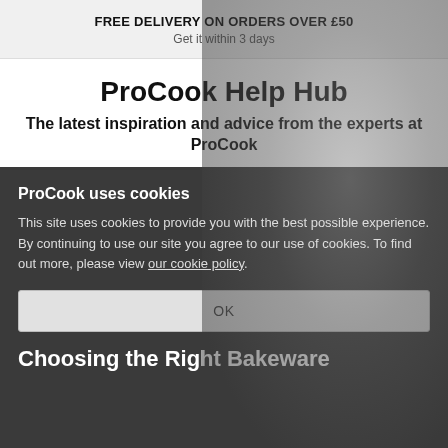FREE DELIVERY ON ORDERS OVER £50
Get it within 3 days
ProCook Help Hub
The latest inspiration and advice from the experts at ProCook
ProCook uses cookies

This site uses cookies to provide you with the best possible experience. By continuing to use our site you agree to our use of cookies. To find out more, please view our cookie policy.
OK
Choosing the Right Bakeware